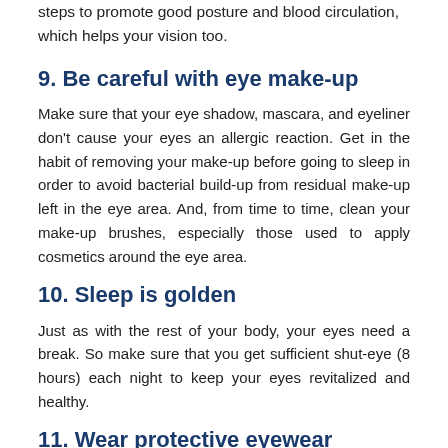steps to promote good posture and blood circulation, which helps your vision too.
9. Be careful with eye make-up
Make sure that your eye shadow, mascara, and eyeliner don't cause your eyes an allergic reaction. Get in the habit of removing your make-up before going to sleep in order to avoid bacterial build-up from residual make-up left in the eye area. And, from time to time, clean your make-up brushes, especially those used to apply cosmetics around the eye area.
10. Sleep is golden
Just as with the rest of your body, your eyes need a break. So make sure that you get sufficient shut-eye (8 hours) each night to keep your eyes revitalized and healthy.
11. Wear protective eyewear
Whatever you do, make sure your eyes are well-protected. If you're swimming, wear goggles to prevent chlorine from entering your eyes. If you're gardening or engaged in a DIY